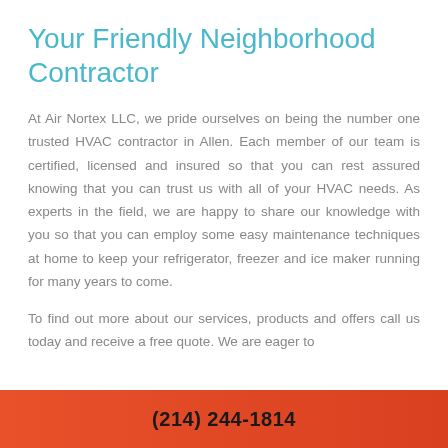Your Friendly Neighborhood Contractor
At Air Nortex LLC, we pride ourselves on being the number one trusted HVAC contractor in Allen. Each member of our team is certified, licensed and insured so that you can rest assured knowing that you can trust us with all of your HVAC needs. As experts in the field, we are happy to share our knowledge with you so that you can employ some easy maintenance techniques at home to keep your refrigerator, freezer and ice maker running for many years to come.
To find out more about our services, products and offers call us today and receive a free quote. We are eager to work with you.
(214) 244-1814